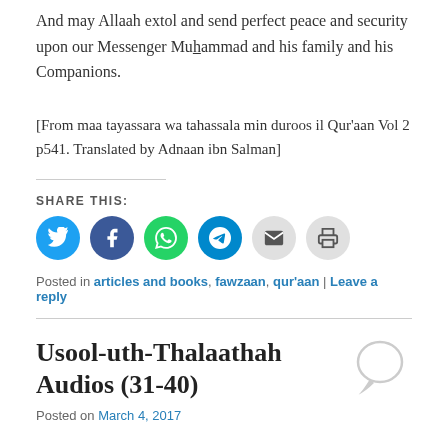And may Allaah extol and send perfect peace and security upon our Messenger Muhammad and his family and his Companions.
[From maa tayassara wa tahassala min duroos il Qur'aan Vol 2 p541. Translated by Adnaan ibn Salman]
SHARE THIS:
[Figure (infographic): Six social share icon buttons: Twitter (blue), Facebook (dark blue), WhatsApp (green), Telegram (blue), Email (gray), Print (gray)]
Posted in articles and books, fawzaan, qur'aan | Leave a reply
Usool-uth-Thalaathah Audios (31-40)
Posted on March 4, 2017